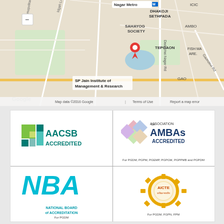[Figure (map): Google Maps showing SP Jain Institute of Management & Research location, with surrounding areas including Nagar Metro station, Sahayog Society, Dhakoji Sethpada, Tepgaon, The Club Mumbai, Dadabhai Nagar Rd, Gaondevi Rd, and Fish Market Area. Map data ©2016 Google.]
[Figure (infographic): Four accreditation logos in a 2x2 grid: AACSB Accredited (top-left), Association of MBAs Accredited for PGDM, PGPM, PGEMP, PGPGM, PGPPMB and PGPDM (top-right), National Board of Accreditation for PGDM (bottom-left), AICTE for PGDM, FGPN, FPM (bottom-right).]